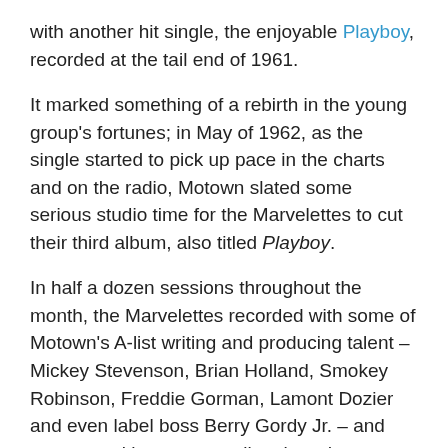with another hit single, the enjoyable Playboy, recorded at the tail end of 1961.
It marked something of a rebirth in the young group's fortunes; in May of 1962, as the single started to pick up pace in the charts and on the radio, Motown slated some serious studio time for the Marvelettes to cut their third album, also titled Playboy.
In half a dozen sessions throughout the month, the Marvelettes recorded with some of Motown's A-list writing and producing talent – Mickey Stevenson, Brian Holland, Smokey Robinson, Freddie Gorman, Lamont Dozier and even label boss Berry Gordy Jr. – and came up with seven excellent brand-new songs for the new album, plus another three that were held over for the group's fourth LP The Marvelous Marvelettes the following year.